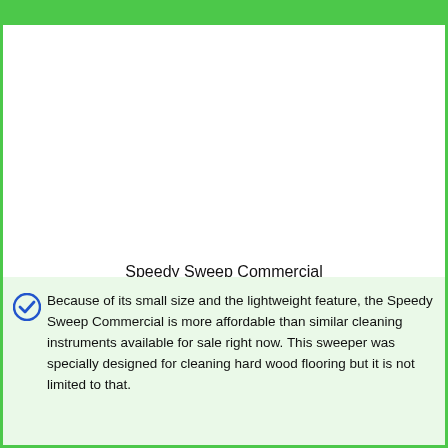[Figure (photo): Product image area for Speedy Sweep Commercial (blank/white placeholder)]
Speedy Sweep Commercial
Check Price On Amazon
Because of its small size and the lightweight feature, the Speedy Sweep Commercial is more affordable than similar cleaning instruments available for sale right now. This sweeper was specially designed for cleaning hard wood flooring but it is not limited to that.